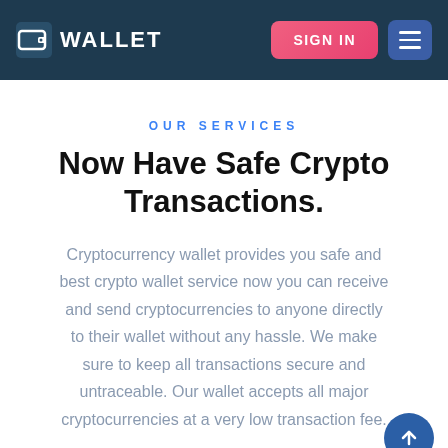WALLET | SIGN IN
OUR SERVICES
Now Have Safe Crypto Transactions.
Cryptocurrency wallet provides you safe and best crypto wallet service now you can receive and send cryptocurrencies to anyone directly to their wallet without any hassle. We make sure to keep all transactions secure and untraceable. Our wallet accepts all major cryptocurrencies at a very low transaction fee.